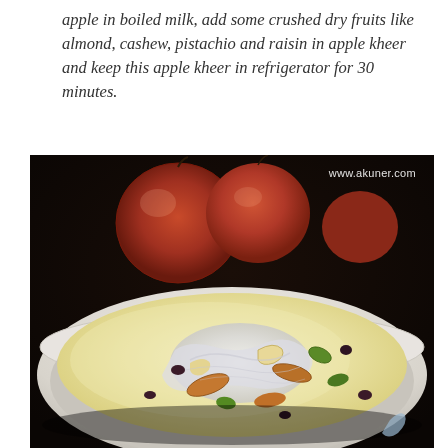apple in boiled milk, add some crushed dry fruits like almond, cashew, pistachio and raisin in apple kheer and keep this apple kheer in refrigerator for 30 minutes.
[Figure (photo): A white bowl filled with creamy apple kheer (Indian milk pudding) topped with almonds, pistachios, cashews, raisins, and silver foil (varak), with red apples visible in the dark background. Watermark reads www.akuner.com.]